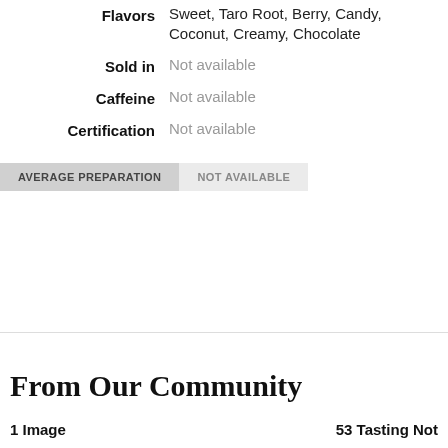| Flavors | Sweet, Taro Root, Berry, Candy, Coconut, Creamy, Chocolate |
| Sold in | Not available |
| Caffeine | Not available |
| Certification | Not available |
AVERAGE PREPARATION   NOT AVAILABLE
From Our Community
1 Image   53 Tasting Not